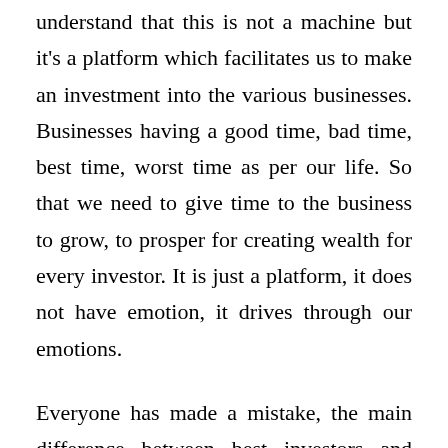understand that this is not a machine but it's a platform which facilitates us to make an investment into the various businesses. Businesses having a good time, bad time, best time, worst time as per our life. So that we need to give time to the business to grow, to prosper for creating wealth for every investor. It is just a platform, it does not have emotion, it drives through our emotions.
Everyone has made a mistake, the main difference between best investors and normal people is, best investors learn and grow from their mistakes but normal people do not, they keep their mistakes into their mind and bring them back to achieving the goal.